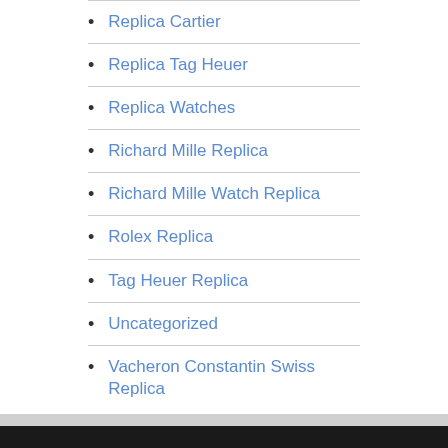Replica Cartier
Replica Tag Heuer
Replica Watches
Richard Mille Replica
Richard Mille Watch Replica
Rolex Replica
Tag Heuer Replica
Uncategorized
Vacheron Constantin Swiss Replica